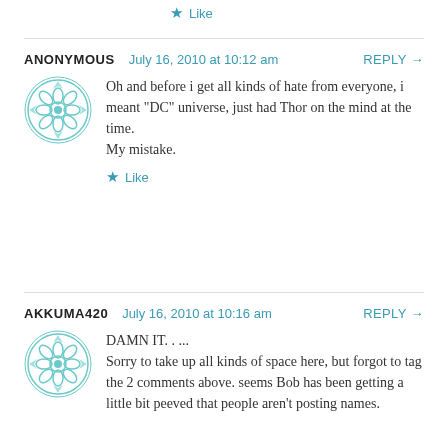★ Like
ANONYMOUS  July 16, 2010 at 10:12 am  REPLY →
Oh and before i get all kinds of hate from everyone, i meant "DC" universe, just had Thor on the mind at the time.
My mistake.
★ Like
AKKUMA420  July 16, 2010 at 10:16 am  REPLY →
DAMN IT. . ...
Sorry to take up all kinds of space here, but forgot to tag the 2 comments above. seems Bob has been getting a little bit peeved that people aren't posting names.